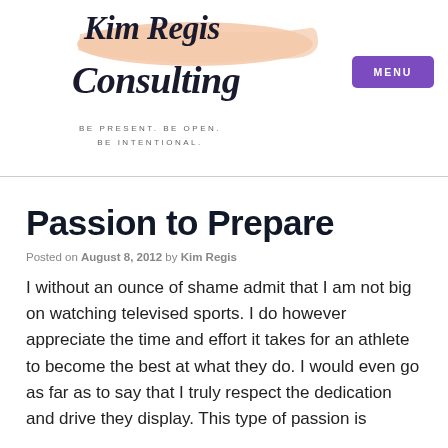Kim Regis Consulting — BE PRESENT. BE OPEN. BE INTENTIONAL.
Passion to Prepare
Posted on August 8, 2012 by Kim Regis
I without an ounce of shame admit that I am not big on watching televised sports. I do however appreciate the time and effort it takes for an athlete to become the best at what they do. I would even go as far as to say that I truly respect the dedication and drive they display. This type of passion is